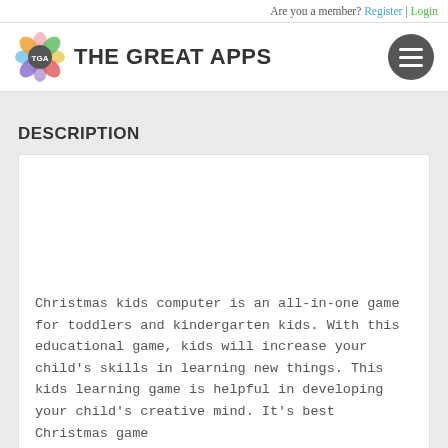Are you a member? Register | Login
[Figure (logo): The Great Apps logo with colorful flower/TGA circle and bold uppercase text]
DESCRIPTION
Christmas kids computer is an all-in-one game for toddlers and kindergarten kids. With this educational game, kids will increase your child's skills in learning new things. This kids learning game is helpful in developing your child's creative mind. It's best Christmas game